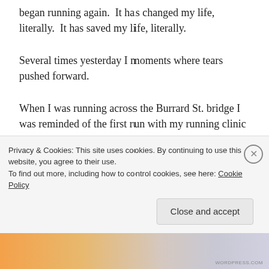began running again.  It has changed my life, literally.  It has saved my life, literally.
Several times yesterday I moments where tears pushed forward.
When I was running across the Burrard St. bridge I was reminded of the first run with my running clinic back in February 2010.  That I continued on with the program really is remarkable to me and what I’ve learned about self is that when I make up my mind to do
something,  when I make that committment,  you’ll be
Privacy & Cookies: This site uses cookies. By continuing to use this website, you agree to their use.
To find out more, including how to control cookies, see here: Cookie Policy
Close and accept